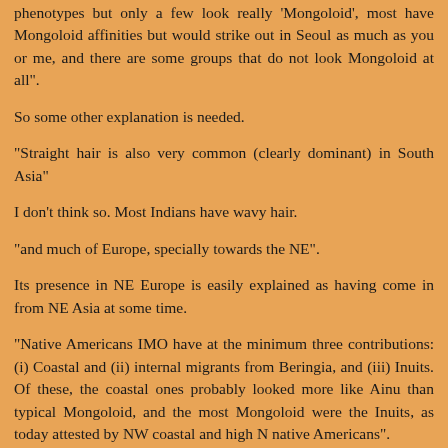phenotypes but only a few look really 'Mongoloid', most have Mongoloid affinities but would strike out in Seoul as much as you or me, and there are some groups that do not look Mongoloid at all".
So some other explanation is needed.
"Straight hair is also very common (clearly dominant) in South Asia"
I don't think so. Most Indians have wavy hair.
"and much of Europe, specially towards the NE".
Its presence in NE Europe is easily explained as having come in from NE Asia at some time.
"Native Americans IMO have at the minimum three contributions: (i) Coastal and (ii) internal migrants from Beringia, and (iii) Inuits. Of these, the coastal ones probably looked more like Ainu than typical Mongoloid, and the most Mongoloid were the Inuits, as today attested by NW coastal and high N native Americans".